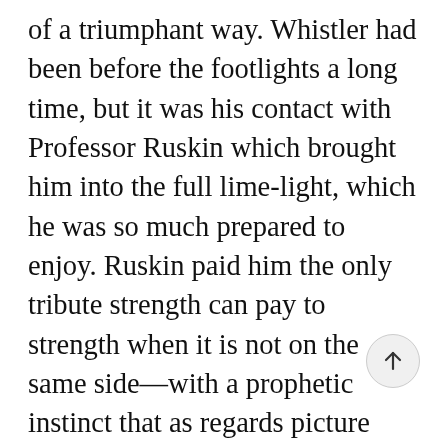of a triumphant way. Whistler had been before the footlights a long time, but it was his contact with Professor Ruskin which brought him into the full lime-light, which he was so much prepared to enjoy. Ruskin paid him the only tribute strength can pay to strength when it is not on the same side—with a prophetic instinct that as regards picture exhibitions Whistler's art was the sign of a coming, and licentious, freedom from the old rules of the game. He saw in Whistler's work the end of old fair things, the laws of those old things all set aside. In reading the so well-known criticism of Whistler one has a feeling that after all Ruskin has only half expressed his feelings in it—however it resulted in the famous libel action. Whistler received one